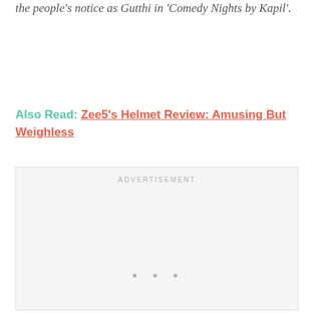the people's notice as Gutthi in 'Comedy Nights by Kapil'.
Also Read: Zee5's Helmet Review: Amusing But Weighless
[Figure (other): Advertisement placeholder box with 'ADVERTISEMENT' label and three small dots at bottom center]